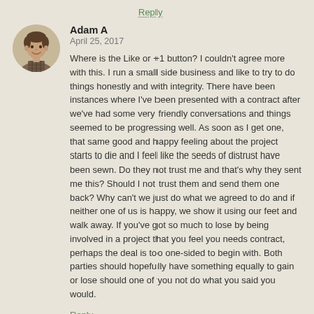Reply
Adam A
April 25, 2017
Where is the Like or +1 button? I couldn't agree more with this. I run a small side business and like to try to do things honestly and with integrity. There have been instances where I've been presented with a contract after we've had some very friendly conversations and things seemed to be progressing well. As soon as I get one, that same good and happy feeling about the project starts to die and I feel like the seeds of distrust have been sewn. Do they not trust me and that's why they sent me this? Should I not trust them and send them one back? Why can't we just do what we agreed to do and if neither one of us is happy, we show it using our feet and walk away. If you've got so much to lose by being involved in a project that you feel you needs contract, perhaps the deal is too one-sided to begin with. Both parties should hopefully have something equally to gain or lose should one of you not do what you said you would.
Reply